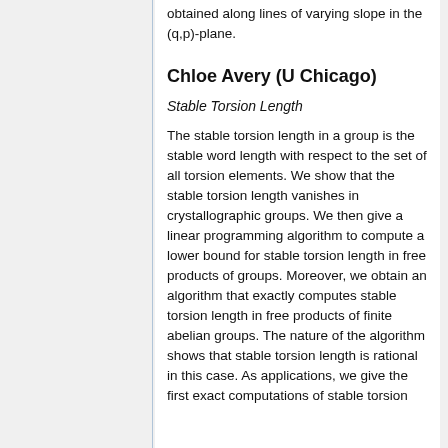obtained along lines of varying slope in the (q,p)-plane.
Chloe Avery (U Chicago)
Stable Torsion Length
The stable torsion length in a group is the stable word length with respect to the set of all torsion elements. We show that the stable torsion length vanishes in crystallographic groups. We then give a linear programming algorithm to compute a lower bound for stable torsion length in free products of groups. Moreover, we obtain an algorithm that exactly computes stable torsion length in free products of finite abelian groups. The nature of the algorithm shows that stable torsion length is rational in this case. As applications, we give the first exact computations of stable torsion